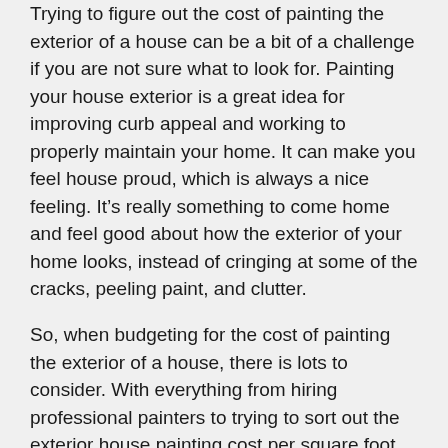Trying to figure out the cost of painting the exterior of a house can be a bit of a challenge if you are not sure what to look for. Painting your house exterior is a great idea for improving curb appeal and working to properly maintain your home. It can make you feel house proud, which is always a nice feeling. It’s really something to come home and feel good about how the exterior of your home looks, instead of cringing at some of the cracks, peeling paint, and clutter.
So, when budgeting for the cost of painting the exterior of a house, there is lots to consider. With everything from hiring professional painters to trying to sort out the exterior house painting cost per square foot. To what aluminum siding painting might cost vs. brick staining. You might even stop to ask yourself is it worth paying someone to paint your house. We have all the information right here for you on how much do painters charge and the average cost to paint a house. So, let’s dig in!